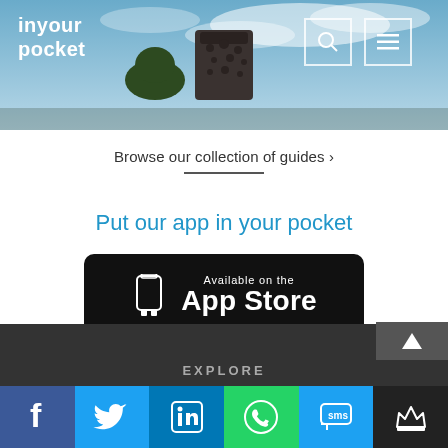[Figure (screenshot): In Your Pocket website header with logo, navigation icons (search, menu), and a background photo of a monument/sculpture against a cloudy sky.]
Browse our collection of guides >
Put our app in your pocket
[Figure (logo): Available on the App Store badge - black rounded rectangle with phone icon and text]
[Figure (logo): GET IT ON Google Play badge - black rounded rectangle with Google Play triangle logo and text]
EXPLORE
[Figure (infographic): Social media bar with icons: Facebook (blue), Twitter (light blue), LinkedIn (dark blue), WhatsApp (green), SMS/messaging (light blue), Crown/premium (dark)]